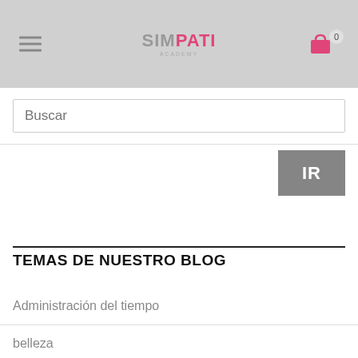[Figure (logo): SimPaTi logo centered in grey header bar, with hamburger menu icon on left and shopping cart icon with badge '0' on right]
Buscar
IR
TEMAS DE NUESTRO BLOG
Administración del tiempo
belleza
casa y cocina
DeMiPaTi